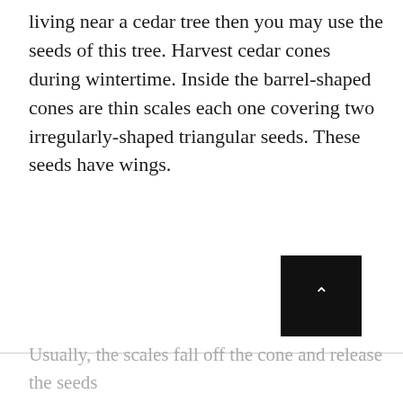living near a cedar tree then you may use the seeds of this tree. Harvest cedar cones during wintertime. Inside the barrel-shaped cones are thin scales each one covering two irregularly-shaped triangular seeds. These seeds have wings.
[Figure (other): Black square button with a white upward-pointing chevron/caret arrow, positioned in the lower-right area of the page — a scroll-to-top UI element.]
Usually, the scales fall off the cone and release the seeds